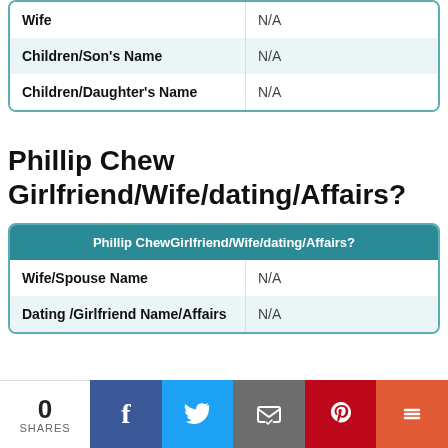|  |  |
| --- | --- |
| Wife | N/A |
| Children/Son's Name | N/A |
| Children/Daughter's Name | N/A |
Phillip Chew Girlfriend/Wife/dating/Affairs?
| Phillip ChewGirlfriend/Wife/dating/Affairs? |  |
| --- | --- |
| Wife/Spouse Name | N/A |
| Dating /Girlfriend Name/Affairs | N/A |